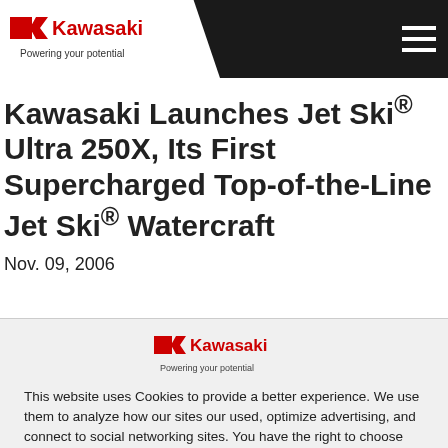Kawasaki — Powering your potential
Kawasaki Launches Jet Ski® Ultra 250X, Its First Supercharged Top-of-the-Line Jet Ski® Watercraft
Nov. 09, 2006
[Figure (logo): Kawasaki logo with text 'Powering your potential' centered in cookie dialog]
This website uses Cookies to provide a better experience. We use them to analyze how our sites our used, optimize advertising, and connect to social networking sites. You have the right to choose whether or not to accept Cookies. Go to Cookie Preferences . See our Cookie Policy for details.